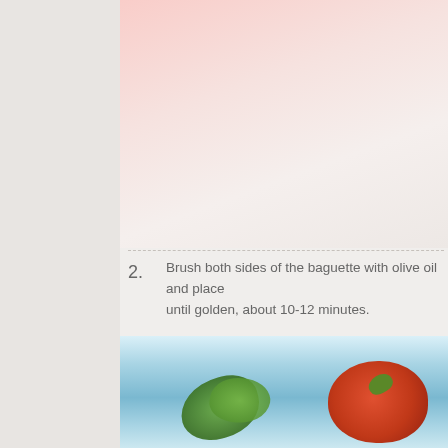[Figure (photo): Top portion of a food photo, pink/light background, partially cropped at top]
2. Brush both sides of the baguette with olive oil and place until golden, about 10-12 minutes.
3. Chiffonade the basil: Stack and roll up the leaves the slic
4. Assemble the crostini: Spread half a tablespoon of ricott tomato, sprinkle with basil and finish with a sprinkle of s Enjoy immediately.
[Figure (photo): Bottom food photo showing crostini on a blue plate with tomatoes and green basil leaves]